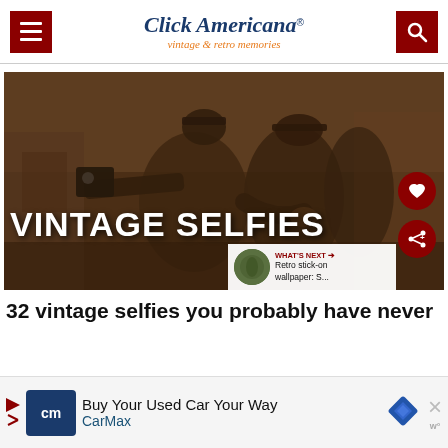Click Americana — vintage & retro memories
[Figure (photo): Sepia-toned vintage photograph of men in early 20th century clothing and hats taking a selfie with a boxy camera held at arm's length. Overlaid text reads 'VINTAGE SELFIES'. Interface buttons for heart (favorite) and share are visible, plus a 'WHAT'S NEXT' panel showing 'Retro stick-on wallpaper: S...']
32 vintage selfies you probably have never
Buy Your Used Car Your Way — CarMax